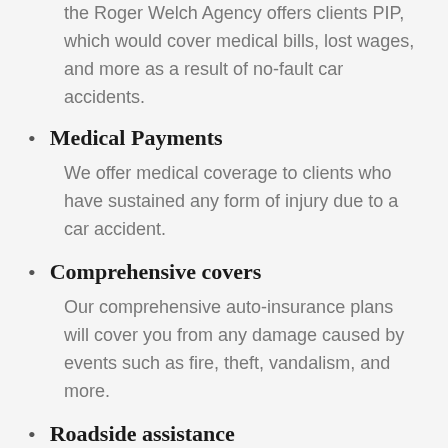the Roger Welch Agency offers clients PIP, which would cover medical bills, lost wages, and more as a result of no-fault car accidents.
Medical Payments
We offer medical coverage to clients who have sustained any form of injury due to a car accident.
Comprehensive covers
Our comprehensive auto-insurance plans will cover you from any damage caused by events such as fire, theft, vandalism, and more.
Roadside assistance
Dead battery? Flat tire? No matter the problem, we've got your back. We offer roadside coverage for disabled vehicles across the country.